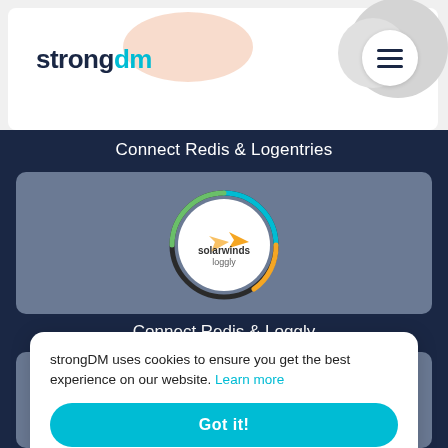[Figure (logo): strongDM logo with dark navy 'strong' text and cyan 'dm' text, hamburger menu icon, decorative blobs in header]
Connect Redis & Logentries
[Figure (logo): SolarWinds Loggly circular logo with orange arrow/wing icon and colored arc border on grey card background]
Connect Redis & Loggly
strongDM uses cookies to ensure you get the best experience on our website. Learn more
Got it!